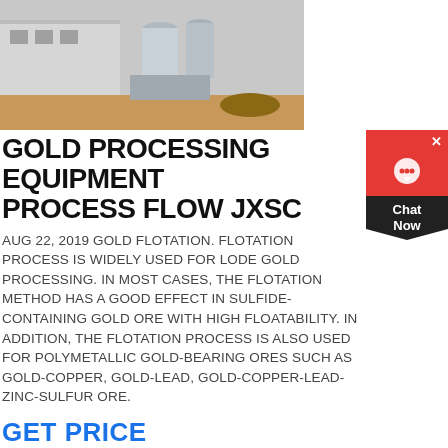[Figure (photo): Industrial gold processing facility with silos and equipment on sandy ground]
GOLD PROCESSING EQUIPMENT PROCESS FLOW JXSC
AUG 22, 2019 GOLD FLOTATION. FLOTATION PROCESS WIDELY USED FOR LODE GOLD PROCESSING. IN MOST CASES, THE FLOTATION METHOD HAS A GOOD EFFECT IN SULFIDE-CONTAINING GOLD ORE WITH HIGH FLOATABILITY. IN ADDITION, THE FLOTATION PROCESS IS ALSO USED FOR POLYMETALLIC GOLD-BEARING ORES SUCH AS GOLD-COPPER, GOLD-LEAD, GOLD-COPPER-LEAD ZINC-SULFUR ORE.
GET PRICE
[Figure (photo): Gold mining or processing machinery with red and yellow equipment against blue sky]